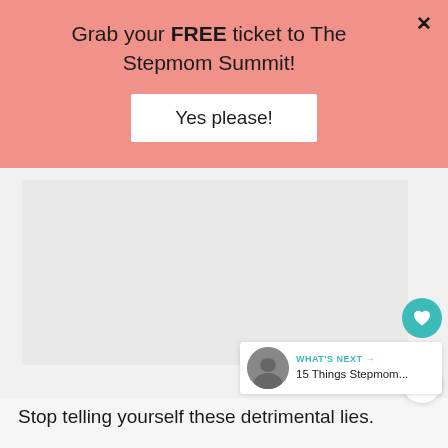Grab your FREE ticket to The Stepmom Summit!
Yes please!
[Figure (other): Light pink/salmon promotional banner area with a 'Yes please!' button and a close (×) button]
[Figure (photo): Gray image placeholder area in the content section]
[Figure (infographic): Heart like button (teal), like count 16, and share button on the right side]
WHAT'S NEXT → 15 Things Stepmom...
Stop telling yourself these detrimental lies.